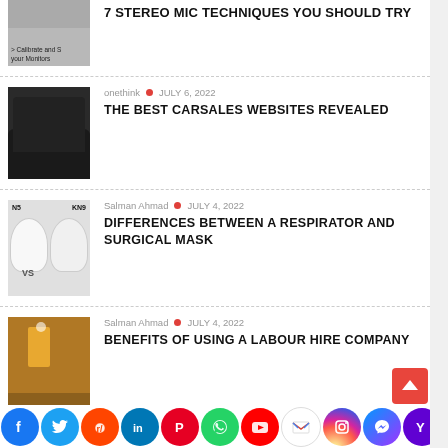[Figure (photo): Thumbnail for stereo mic techniques article - partially visible with text overlay 'Calibrate and S your Monitors']
7 STEREO MIC TECHNIQUES YOU SHOULD TRY
[Figure (photo): Dark SUV car front view thumbnail]
onethink • JULY 6, 2022
THE BEST CARSALES WEBSITES REVEALED
[Figure (photo): N95 vs KN95 respirator masks comparison thumbnail]
Salman Ahmad • JULY 4, 2022
DIFFERENCES BETWEEN A RESPIRATOR AND SURGICAL MASK
[Figure (photo): Construction workers at site - labour hire company thumbnail]
Salman Ahmad • JULY 4, 2022
BENEFITS OF USING A LABOUR HIRE COMPANY
[Figure (photo): Digital technology / IT service provider concept thumbnail]
Salman Ahmad • JULY 4, 2022
HOW TO SELECT THE BEST MANAGED IT SERVICE PROVIDER FOR YOUR COMPANY?
[Figure (infographic): Social media sharing icons bar: Facebook, Twitter, Reddit, LinkedIn, Pinterest, WhatsApp, YouTube, Gmail, Instagram, Messenger, Yahoo]